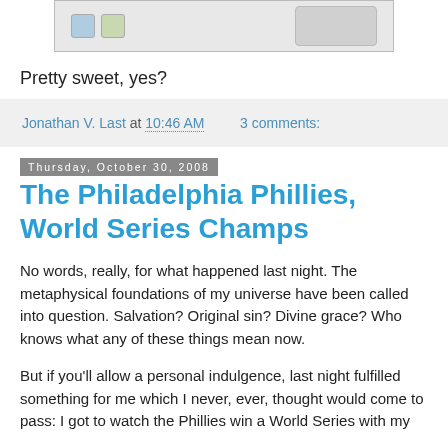[Figure (screenshot): Partial image of a product (likely a software box) with icons for Windows and Mac at the bottom, on a light gray background, cropped at top of page.]
Pretty sweet, yes?
Jonathan V. Last at 10:46 AM   3 comments:
Thursday, October 30, 2008
The Philadelphia Phillies, World Series Champs
No words, really, for what happened last night. The metaphysical foundations of my universe have been called into question. Salvation? Original sin? Divine grace? Who knows what any of these things mean now.
But if you'll allow a personal indulgence, last night fulfilled something for me which I never, ever, thought would come to pass: I got to watch the Phillies win a World Series with my